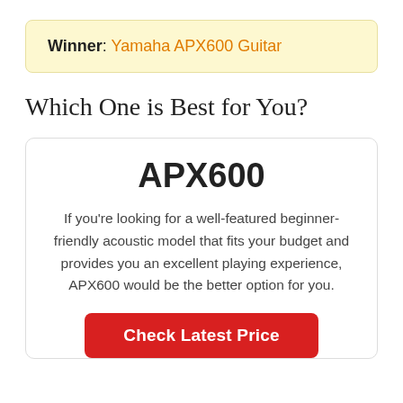Winner: Yamaha APX600 Guitar
Which One is Best for You?
APX600
If you're looking for a well-featured beginner-friendly acoustic model that fits your budget and provides you an excellent playing experience, APX600 would be the better option for you.
Check Latest Price